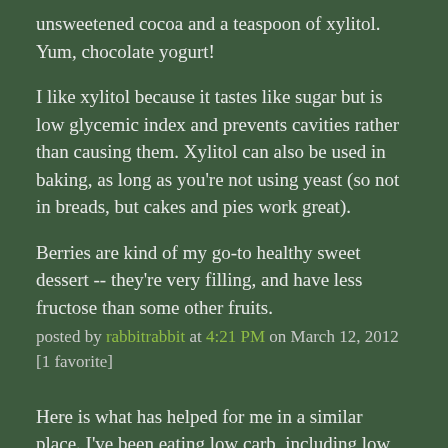unsweetened cocoa and a teaspoon of xylitol. Yum, chocolate yogurt!
I like xylitol because it tastes like sugar but is low glycemic index and prevents cavities rather than causing them. Xylitol can also be used in baking, as long as you're not using yeast (so not in breads, but cakes and pies work great).
Berries are kind of my go-to healthy sweet dessert -- they're very filling, and have less fructose than some other fruits.
posted by rabbitrabbit at 4:21 PM on March 12, 2012 [1 favorite]
Here is what has helped for me in a similar place. I've been eating low carb, including low sugar, for the last year. Two things that have helped a lot are: